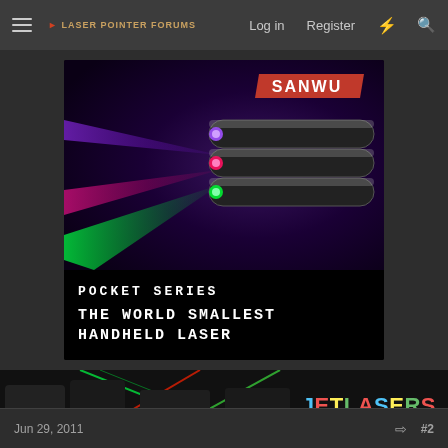Laser Pointer Forums — Log in  Register
[Figure (photo): Sanwu Pocket Series advertisement banner showing three black laser pointers emitting purple, red/pink, and green beams with SANWU logo badge and text: POCKET SERIES THE WORLD SMALLEST HANDHELD LASER]
[Figure (photo): JetLasers advertisement banner showing laser products with colored beams and text: JETLASERS 5% Off Coupon: SPECIALDEAL]
Jun 29, 2011   #2